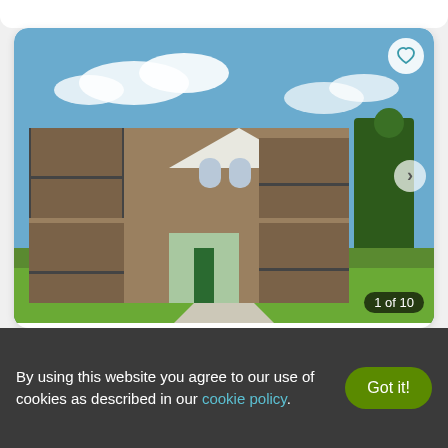[Figure (photo): Exterior photo of a stone apartment building with balconies, green lawn, blue sky with clouds. Image counter shows '1 of 10'.]
Today
Compare
Edgewater Apartments
By using this website you agree to our use of cookies as described in our cookie policy.
Got it!